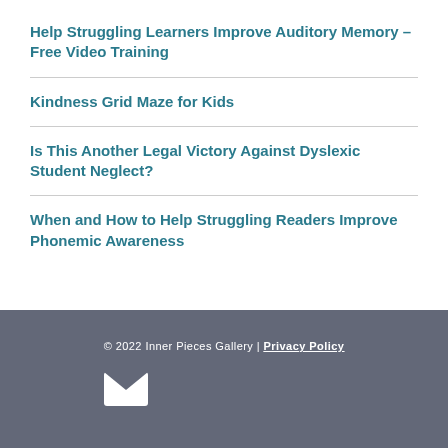Help Struggling Learners Improve Auditory Memory – Free Video Training
Kindness Grid Maze for Kids
Is This Another Legal Victory Against Dyslexic Student Neglect?
When and How to Help Struggling Readers Improve Phonemic Awareness
© 2022 Inner Pieces Gallery | Privacy Policy